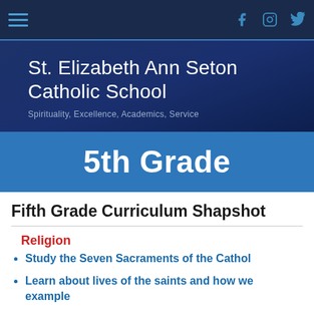[Figure (screenshot): Navigation bar with hamburger menu on the left and social media icons (Facebook, Instagram, Twitter) on the right, dark navy background]
St. Elizabeth Ann Seton Catholic School
Spirituality, Excellence, Academics, Service
5th Grade
Fifth Grade Curriculum Shapshot
Religion
Study the Seven Sacraments of the Cathol
Learn about lives of the saints and how we example